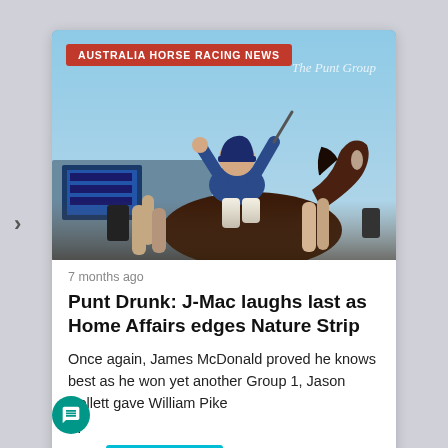[Figure (photo): A jockey in dark blue jacket riding a dark horse, raising arms in celebration, crowd visible below, blue sky background. Red banner overlay reads 'AUSTRALIA HORSE RACING NEWS' with a watermark 'The Punt Group' in top right.]
7 months ago
Punt Drunk: J-Mac laughs last as Home Affairs edges Nature Strip
Once again, James McDonald proved he knows best as he won yet another Group 1, Jason Collett gave William Pike
...
Read More